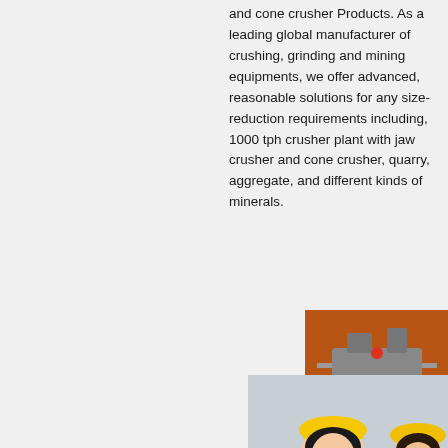and cone crusher Products. As a leading global manufacturer of crushing, grinding and mining equipments, we offer advanced, reasonable solutions for any size-reduction requirements including, 1000 tph crusher plant with jaw crusher and cone crusher, quarry, aggregate, and different kinds of minerals.
[Figure (photo): Live chat popup overlay with workers in yellow hard hats, LIVE CHAT text, Click for a Free Consultation, Chat now and Chat later buttons]
[Figure (photo): Blue mobile crusher machine on tracks in outdoor setting]
[Figure (photo): Orange sidebar with crusher machinery images, Enjoy 3% discount, Click to Chat button, Enquiry section, mumumugoods@gmail.com email]